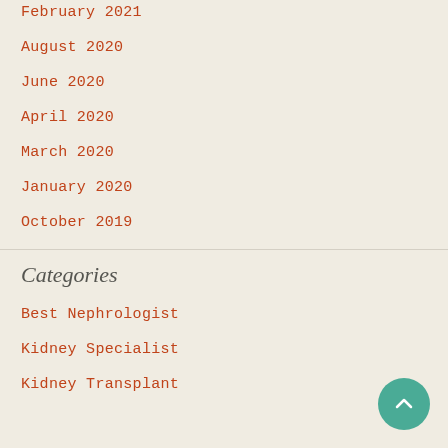February 2021
August 2020
June 2020
April 2020
March 2020
January 2020
October 2019
Categories
Best Nephrologist
Kidney Specialist
Kidney Transplant